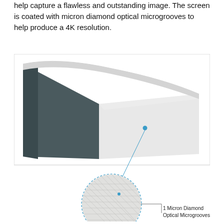help capture a flawless and outstanding image. The screen is coated with micron diamond optical microgrooves to help produce a 4K resolution.
[Figure (illustration): A 3D illustration of a projection screen showing the front white surface and dark back/side, with a blue dot callout pointing to the screen surface. Below the screen is a zoomed circular inset showing the micro-texture of the screen surface, with a label line pointing to '1 Micron Diamond Optical Microgrooves'.]